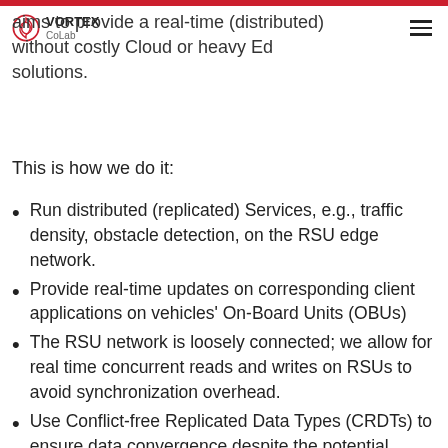VORTEX CoLab
aims to provide a real-time (distributed) without costly Cloud or heavy Edge solutions.
This is how we do it:
Run distributed (replicated) Services, e.g., traffic density, obstacle detection, on the RSU edge network.
Provide real-time updates on corresponding client applications on vehicles' On-Board Units (OBUs)
The RSU network is loosely connected; we allow for real time concurrent reads and writes on RSUs to avoid synchronization overhead.
Use Conflict-free Replicated Data Types (CRDTs) to ensure data convergence despite the potential conflicts due to